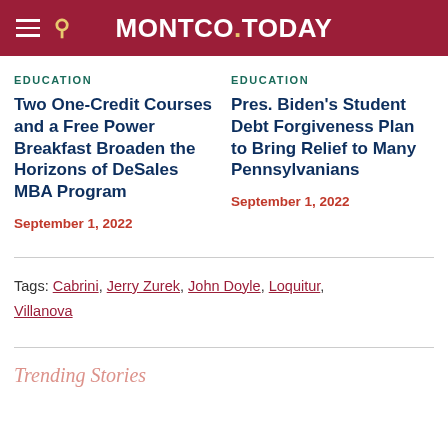MONTCO.TODAY
EDUCATION
Two One-Credit Courses and a Free Power Breakfast Broaden the Horizons of DeSales MBA Program
September 1, 2022
EDUCATION
Pres. Biden's Student Debt Forgiveness Plan to Bring Relief to Many Pennsylvanians
September 1, 2022
Tags: Cabrini, Jerry Zurek, John Doyle, Loquitur, Villanova
Trending Stories